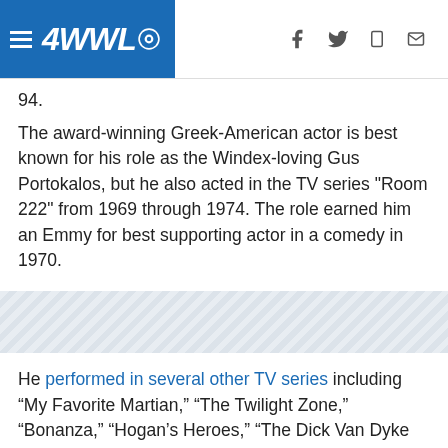4WWL
94.
The award-winning Greek-American actor is best known for his role as the Windex-loving Gus Portokalos, but he also acted in the TV series "Room 222" from 1969 through 1974. The role earned him an Emmy for best supporting actor in a comedy in 1970.
[Figure (other): Diagonal stripe decorative divider band]
He performed in several other TV series including “My Favorite Martian,” “The Twilight Zone,” “Bonanza,” “Hogan’s Heroes,” “The Dick Van Dyke Show,” “The Fugitive,” “Quincy, M.E.,” “The Love Boat,” “Remington Steele,” “MacGyver,” “Murder, She Wrote,” and the series spin-off of the movie and sequel, “My Big Fat Greek Life.”